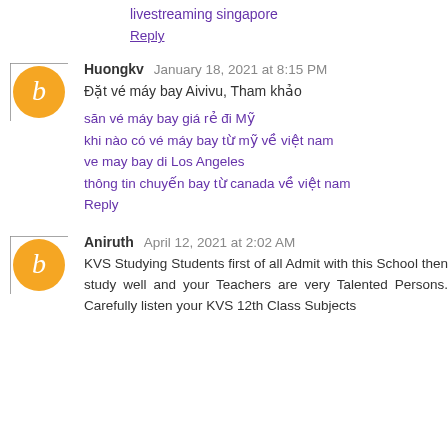livestreaming singapore
Reply
Huongkv  January 18, 2021 at 8:15 PM
Đặt vé máy bay Aivivu, Tham khảo
săn vé máy bay giá rẻ đi Mỹ
khi nào có vé máy bay từ mỹ về việt nam
ve may bay di Los Angeles
thông tin chuyến bay từ canada về việt nam
Reply
Aniruth  April 12, 2021 at 2:02 AM
KVS Studying Students first of all Admit with this School then study well and your Teachers are very Talented Persons. Carefully listen your KVS 12th Class Subjects